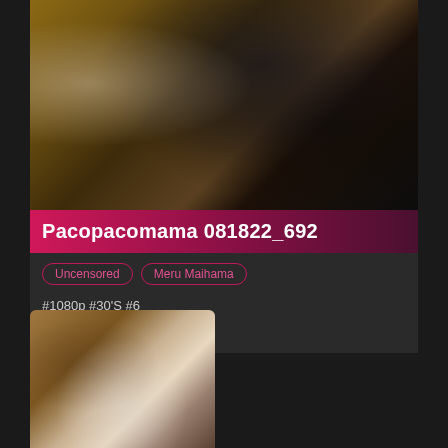[Figure (photo): Thumbnail image showing two people in a room with wooden flooring and a bed, one person in a dark floral dress]
Pacopacomama 081822_692
Uncensored
Meru Maihama
#1080p #30'S #6
Blowjob #Cream
[Figure (photo): Second thumbnail image showing a person with dark hair lying down]